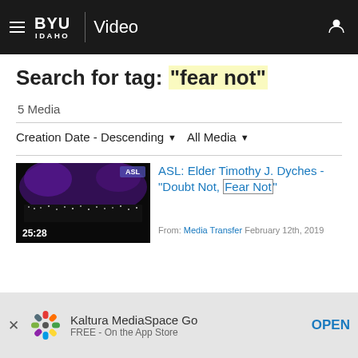BYU IDAHO | Video
Search for tag: "fear not"
5 Media
Creation Date - Descending   All Media
[Figure (screenshot): Video thumbnail showing a dark stage with purple lighting, an ASL badge in top-right corner, and duration 25:28 in bottom-left]
ASL: Elder Timothy J. Dyches - “Doubt Not, Fear Not”
From: Media Transfer February 12th, 2019
Kaltura MediaSpace Go
FREE - On the App Store
OPEN